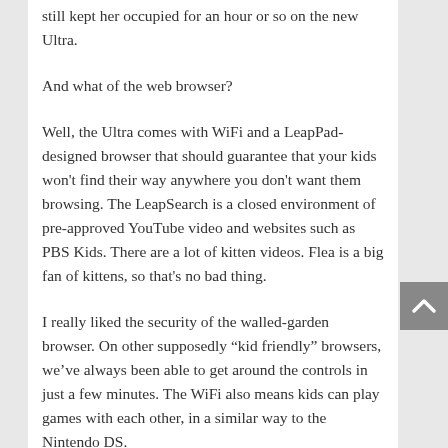still kept her occupied for an hour or so on the new Ultra.
And what of the web browser?
Well, the Ultra comes with WiFi and a LeapPad-designed browser that should guarantee that your kids won't find their way anywhere you don't want them browsing. The LeapSearch is a closed environment of pre-approved YouTube video and websites such as PBS Kids. There are a lot of kitten videos. Flea is a big fan of kittens, so that's no bad thing.
I really liked the security of the walled-garden browser. On other supposedly “kid friendly” browsers, we’ve always been able to get around the controls in just a few minutes. The WiFi also means kids can play games with each other, in a similar way to the Nintendo DS.